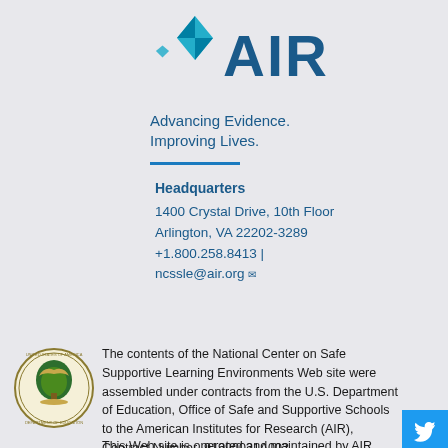[Figure (logo): AIR (American Institutes for Research) logo with teal diamond/arrow icon and large blue AIR text]
Advancing Evidence.
Improving Lives.
Headquarters
1400 Crystal Drive, 10th Floor
Arlington, VA 22202-3289
+1.800.258.8413 |
ncssle@air.org
[Figure (logo): U.S. Department of Education circular seal with tree and eagle]
The contents of the National Center on Safe Supportive Learning Environments Web site were assembled under contracts from the U.S. Department of Education, Office of Safe and Supportive Schools to the American Institutes for Research (AIR), Contract Number  91990021A002
This Web site is operated and maintained by AIR. The contents of this Web site do not necessarily represent the policy or views of the U.S. Departme...